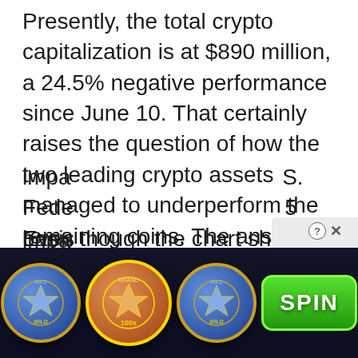Presently, the total crypto capitalization is at $890 million, a 24.5% negative performance since June 10. That certainly raises the question of how the two leading crypto assets managed to underperform the remaining coins. The answer lies in the $154 billion worth of stablecoins distorting the broader market performance.
Even though the chart shows support at the $878 billion level, it will take some time until traders take in every recent event that has impacted... S. Fede... 5 basis... 28
[Figure (screenshot): Casino advertisement overlay showing three diamond slot machine coins and a green SPIN button, partially covering the article text. An X close button and question mark icon appear above the ad.]